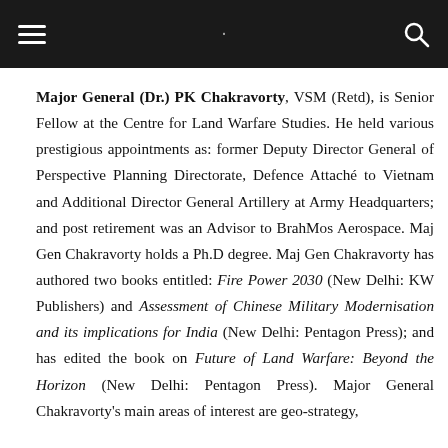[Navigation bar with hamburger menu and search icon]
Major General (Dr.) PK Chakravorty, VSM (Retd), is Senior Fellow at the Centre for Land Warfare Studies. He held various prestigious appointments as: former Deputy Director General of Perspective Planning Directorate, Defence Attaché to Vietnam and Additional Director General Artillery at Army Headquarters; and post retirement was an Advisor to BrahMos Aerospace. Maj Gen Chakravorty holds a Ph.D degree. Maj Gen Chakravorty has authored two books entitled: Fire Power 2030 (New Delhi: KW Publishers) and Assessment of Chinese Military Modernisation and its implications for India (New Delhi: Pentagon Press); and has edited the book on Future of Land Warfare: Beyond the Horizon (New Delhi: Pentagon Press). Major General Chakravorty's main areas of interest are geo-strategy,